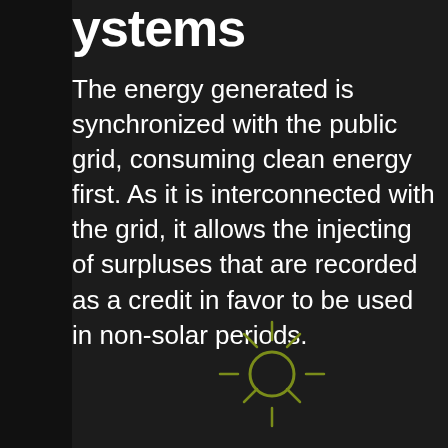Systems
The energy generated is synchronized with the public grid, consuming clean energy first. As it is interconnected with the grid, it allows the injecting of surpluses that are recorded as a credit in favor to be used in non-solar periods.
[Figure (illustration): Sun icon outline in olive/yellow-green color on dark background]